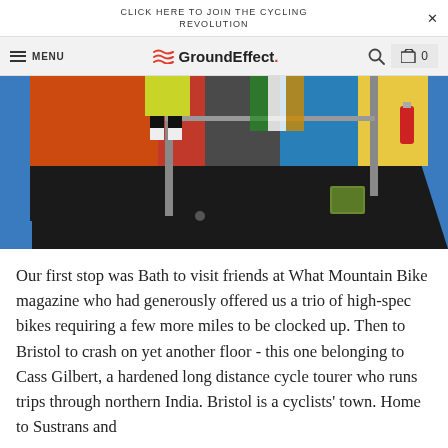CLICK HERE TO JOIN THE CYCLING REVOLUTION
GroundEffect. MENU
[Figure (photo): Indoor exhibition or trade show booth scene with blue floor covering, orange and red booth panels, people standing, metal frame structures, a round high table with stool, and various equipment items visible.]
Our first stop was Bath to visit friends at What Mountain Bike magazine who had generously offered us a trio of high-spec bikes requiring a few more miles to be clocked up. Then to Bristol to crash on yet another floor - this one belonging to Cass Gilbert, a hardened long distance cycle tourer who runs trips through northern India. Bristol is a cyclists' town. Home to Sustrans and